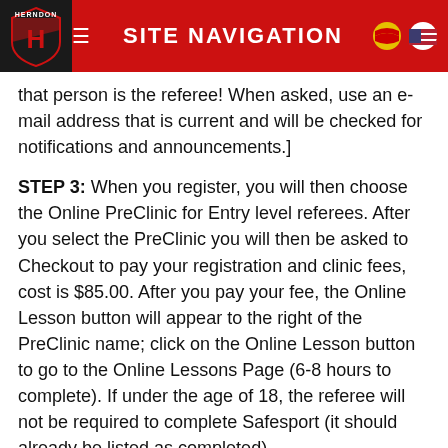SITE NAVIGATION
that person is the referee! When asked, use an e-mail address that is current and will be checked for notifications and announcements.]
STEP 3: When you register, you will then choose the Online PreClinic for Entry level referees. After you select the PreClinic you will then be asked to Checkout to pay your registration and clinic fees, cost is $85.00. After you pay your fee, the Online Lesson button will appear to the right of the PreClinic name; click on the Online Lesson button to go to the Online Lessons Page (6-8 hours to complete). If under the age of 18, the referee will not be required to complete Safesport (it should already be listed as completed).
STEP 4: After completing the Online Lessons, you will be directed to Pick a Clinic for the field training session